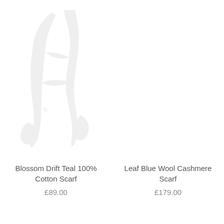[Figure (photo): Faint light gray image of a draped scarf (Blossom Drift Teal 100% Cotton Scarf) shown on white background, very low contrast]
Blossom Drift Teal 100% Cotton Scarf
£89.00
[Figure (photo): Empty/blank product image area for Leaf Blue Wool Cashmere Scarf]
Leaf Blue Wool Cashmere Scarf
£179.00